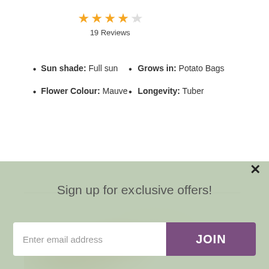★★★★☆ 19 Reviews
Sun shade: Full sun
Grows in: Potato Bags
Flower Colour: Mauve
Longevity: Tuber
[Figure (photo): Close-up photo of a baked potato dish topped with tomato sauce, herbs, and sour cream on a white plate.]
Sign up for exclusive offers!
Enter email address
JOIN